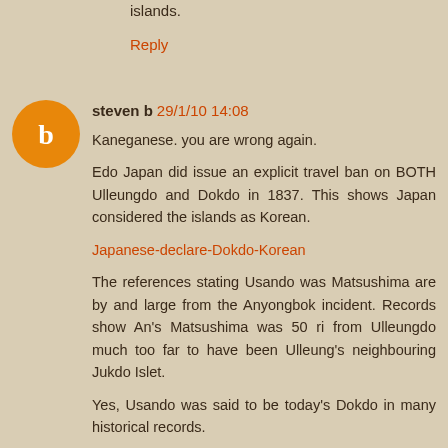islands.
Reply
steven b 29/1/10 14:08
Kaneganese. you are wrong again.
Edo Japan did issue an explicit travel ban on BOTH Ulleungdo and Dokdo in 1837. This shows Japan considered the islands as Korean.
Japanese-declare-Dokdo-Korean
The references stating Usando was Matsushima are by and large from the Anyongbok incident. Records show An's Matsushima was 50 ri from Ulleungdo much too far to have been Ulleung's neighbouring Jukdo Islet.
Yes, Usando was said to be today's Dokdo in many historical records.
Reply